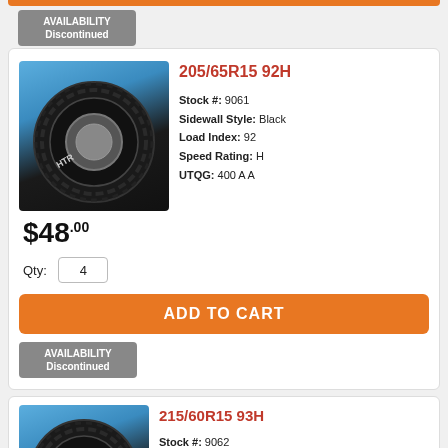AVAILABILITY Discontinued
[Figure (photo): Tire product image for 205/65R15 92H on blue/dark background]
205/65R15 92H
Stock #: 9061
Sidewall Style: Black
Load Index: 92
Speed Rating: H
UTQG: 400 A A
$48.00
Qty: 4
ADD TO CART
AVAILABILITY Discontinued
[Figure (photo): Tire product image for 215/60R15 93H on blue/dark background]
215/60R15 93H
Stock #: 9062
Sidewall Style: Black
Load Index: 93
Speed Rating: H
UTQG: 400 A A